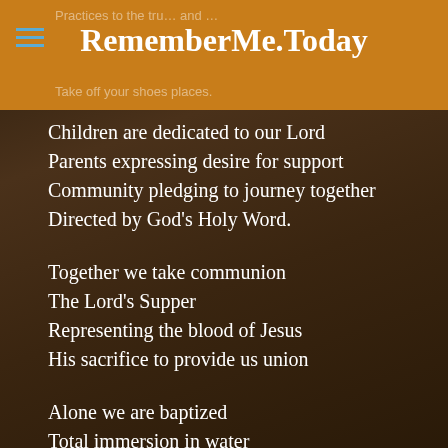RememberMe.Today
Children are dedicated to our Lord
Parents expressing desire for support
Community pledging to journey together
Directed by God's Holy Word.
Together we take communion
The Lord's Supper
Representing the blood of Jesus
His sacrifice to provide us union
Alone we are baptized
Total immersion in water
Holding nothing back
Identity in Christ realized.